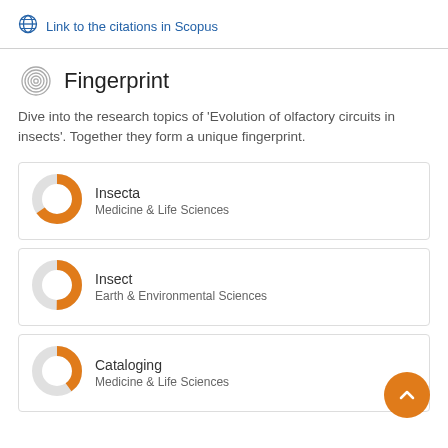Link to the citations in Scopus
Fingerprint
Dive into the research topics of 'Evolution of olfactory circuits in insects'. Together they form a unique fingerprint.
[Figure (donut-chart): Donut chart for Insecta, Medicine & Life Sciences, approximately 90% filled orange]
Insecta
Medicine & Life Sciences
[Figure (donut-chart): Donut chart for Insect, Earth & Environmental Sciences, approximately 75% filled orange]
Insect
Earth & Environmental Sciences
[Figure (donut-chart): Donut chart for Cataloging, Medicine & Life Sciences, approximately 65% filled orange]
Cataloging
Medicine & Life Sciences